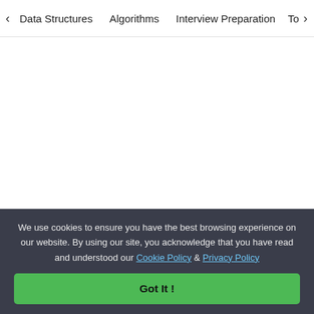< Data Structures   Algorithms   Interview Preparation   To>
[Figure (logo): GeeksforGeeks logo with stylized GG emblem in green and site name text]
A-143, 9th Floor, Sovereign Corporate Tower, Sector-136, Noida, Uttar Pradesh - 201305
We use cookies to ensure you have the best browsing experience on our website. By using our site, you acknowledge that you have read and understood our Cookie Policy & Privacy Policy
Got It !